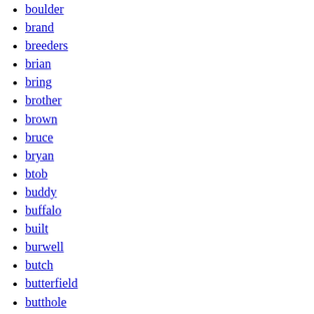boulder
brand
breeders
brian
bring
brother
brown
bruce
bryan
btob
buddy
buffalo
built
burwell
butch
butterfield
butthole
buysalot
buzzcocks
byrds
cabaret
cale
california
canned
cannot
captain
card
carl